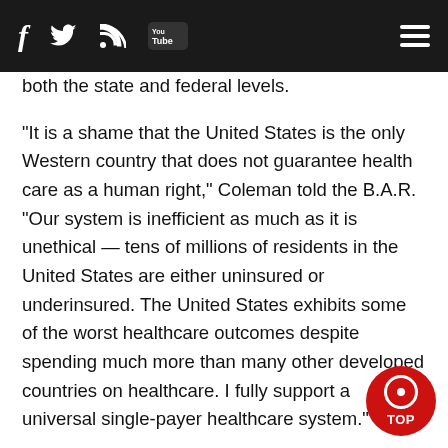f [twitter] [rss] [youtube] [menu]
both the state and federal levels.
"It is a shame that the United States is the only Western country that does not guarantee health care as a human right," Coleman told the B.A.R. "Our system is inefficient as much as it is unethical — tens of millions of residents in the United States are either uninsured or underinsured. The United States exhibits some of the worst healthcare outcomes despite spending much more than many other developed countries on healthcare. I fully support a universal single-payer healthcare system."
The issue of medical care is of particular importance to the state's LGBTQ residents, added Coleman, noting they are at risk of myriad health concerns due to discrimination and stigma they face because of their sexual orientation and